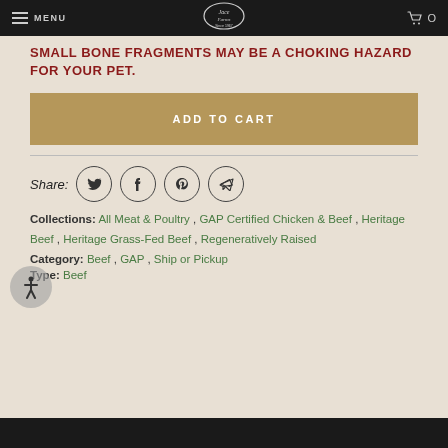MENU | [logo] | cart 0
SMALL BONE FRAGMENTS MAY BE A CHOKING HAZARD FOR YOUR PET.
ADD TO CART
Share:
Collections: All Meat & Poultry , GAP Certified Chicken & Beef , Heritage Beef , Heritage Grass-Fed Beef , Regeneratively Raised
Category: Beef , GAP , Ship or Pickup
Type: Beef